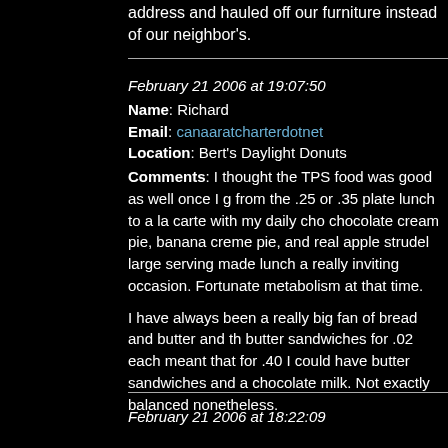address and hauled off our furniture instead of our neighbor's.
February 21 2006 at 19:07:50
Name: Richard
Email: canaaratcharterdotnet
Location: Bert's Daylight Donuts
Comments: I thought the TPS food was good as well once I g from the .25 or .35 plate lunch to a la carte with my daily cho chocolate cream pie, banana creme pie, and real apple strudel large serving made lunch a really inviting occasion. Fortunate metabolism at that time.

I have always been a really big fan of bread and butter and th butter sandwiches for .02 each meant that for .40 I could have butter sandwiches and a chocolate milk. Not exactly balanced nonetheless.
February 21 2006 at 18:22:09